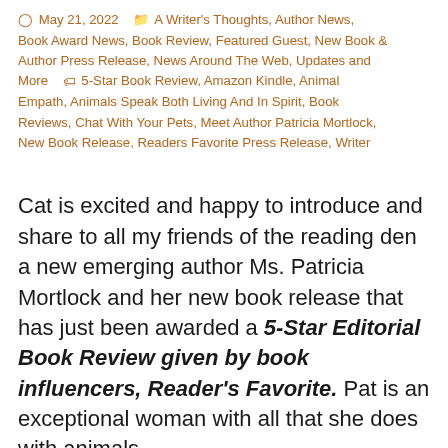May 21, 2022  A Writer's Thoughts, Author News, Book Award News, Book Review, Featured Guest, New Book & Author Press Release, News Around The Web, Updates and More  5-Star Book Review, Amazon Kindle, Animal Empath, Animals Speak Both Living And In Spirit, Book Reviews, Chat With Your Pets, Meet Author Patricia Mortlock, New Book Release, Readers Favorite Press Release, Writer
Cat is excited and happy to introduce and share to all my friends of the reading den a new emerging author Ms. Patricia Mortlock and her new book release that has just been awarded a 5-Star Editorial Book Review given by book influencers, Reader's Favorite. Pat is an exceptional woman with all that she does with animals,